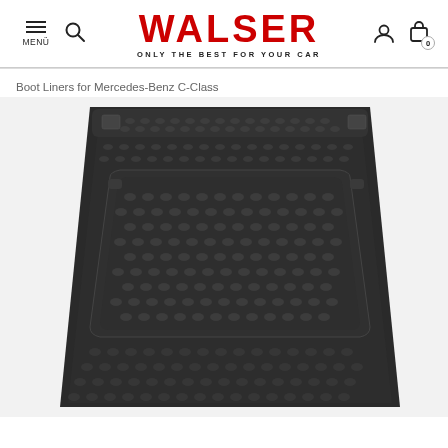WALSER — ONLY THE BEST FOR YOUR CAR
Boot Liners for Mercedes-Benz C-Class
[Figure (photo): Black rubber boot liner / trunk mat for Mercedes-Benz C-Class, shown from above at an angle, featuring a dotted textured surface and raised edges.]